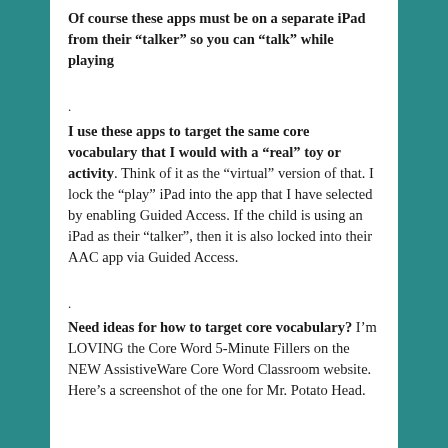Of course these apps must be on a separate iPad from their “talker” so you can “talk” while playing
.
I use these apps to target the same core vocabulary that I would with a “real” toy or activity. Think of it as the “virtual” version of that. I lock the “play” iPad into the app that I have selected by enabling Guided Access. If the child is using an iPad as their “talker”, then it is also locked into their AAC app via Guided Access.
.
Need ideas for how to target core vocabulary? I’m LOVING the Core Word 5-Minute Fillers on the NEW AssistiveWare Core Word Classroom website. Here’s a screenshot of the one for Mr. Potato Head.